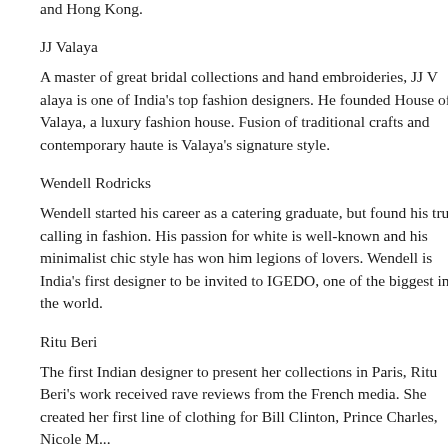and Hong Kong.
JJ Valaya
A master of great bridal collections and hand embroideries, JJ Valaya is one of India's top fashion designers. He founded House of Valaya, a luxury fashion house in New Delhi. Fusion of traditional crafts and contemporary haute is Valaya's signature style.
Wendell Rodricks
Wendell started his career as a catering graduate, but found his true calling in fashion. His passion for white is well-known and his minimalist chic style has won him legions of lovers. Wendell is India's first designer to be invited to IGEDO, one of the biggest in the world.
Ritu Beri
The first Indian designer to present her collections in Paris, Ritu Beri's work received rave reviews from the French media. She created her first line of clothing for Bill Clinton, Prince Charles, Nicole...